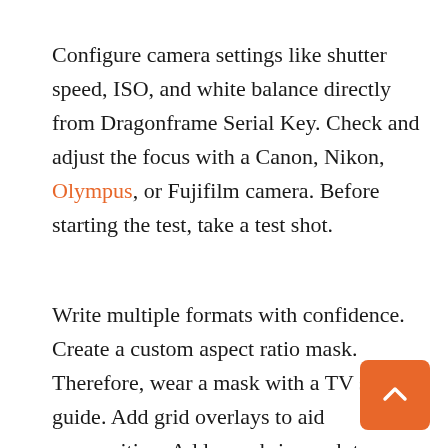Configure camera settings like shutter speed, ISO, and white balance directly from Dragonframe Serial Key. Check and adjust the focus with a Canon, Nikon, Olympus, or Fujifilm camera. Before starting the test, take a test shot.
Write multiple formats with confidence. Create a custom aspect ratio mask. Therefore, wear a mask with a TV safety guide. Add grid overlays to aid composition. Add a push-in mask to allow post-production to push or pan.
Dragonframe License Key checks the full resolution of the image. Use the cropping screen to check overexposed or underexposed areas. Upload images of other scenes to compare